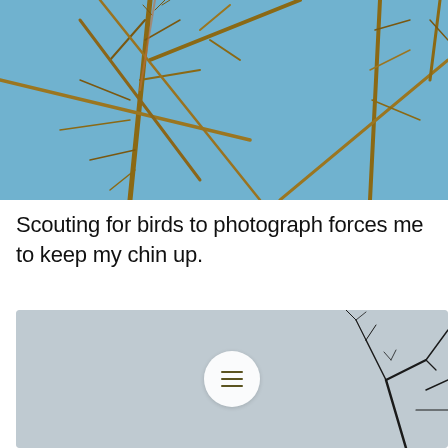[Figure (photo): Close-up photograph of bare, leafless brown branches against a clear blue sky. The branches are thin and crisscross in various directions.]
Scouting for birds to photograph forces me to keep my chin up.
[Figure (photo): Photograph of a pale grey-blue overcast sky with bare dark tree branches visible at the lower right corner. A circular white menu button with three horizontal lines (hamburger icon) is overlaid in the center.]